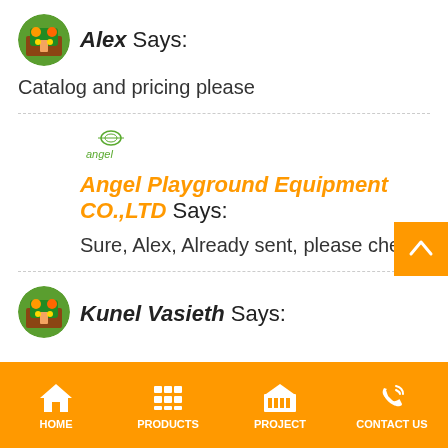[Figure (illustration): Round avatar with playground illustration]
Alex Says:
Catalog and pricing please
[Figure (logo): Angel playground equipment logo - green angel figure with text 'angel']
Angel Playground Equipment CO.,LTD Says:
Sure, Alex, Already sent, please check
[Figure (illustration): Round avatar with playground illustration]
Kunel Vasieth Says: